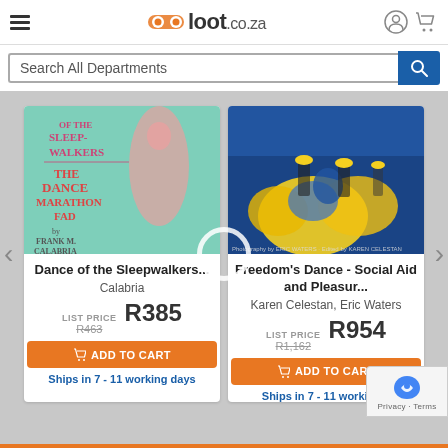loot.co.za — Search All Departments
[Figure (illustration): Book cover: Dance of the Sleepwalkers - The Dance Marathon Fad by Frank M. Calabria, green/teal cover with dancing figure]
Dance of the Sleepwalkers...
Calabria
LIST PRICE R463  R385
ADD TO CART
Ships in 7 - 11 working days
[Figure (photo): Book cover: Freedom's Dance - Social Aid and Pleasure Clubs, photo of performers in yellow and blue feathered costumes]
Freedom's Dance - Social Aid and Pleasur...
Karen Celestan, Eric Waters
LIST PRICE R1,162  R954
ADD TO CART
Ships in 7 - 11 working days